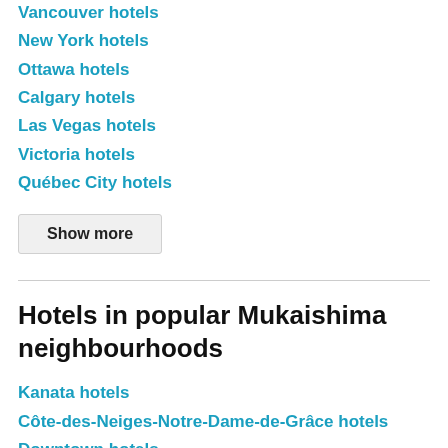Vancouver hotels
New York hotels
Ottawa hotels
Calgary hotels
Las Vegas hotels
Victoria hotels
Québec City hotels
Show more
Hotels in popular Mukaishima neighbourhoods
Kanata hotels
Côte-des-Neiges-Notre-Dame-de-Grâce hotels
Downtown hotels
Gastown hotels
LaSalle hotels
6th arrondissement hotels